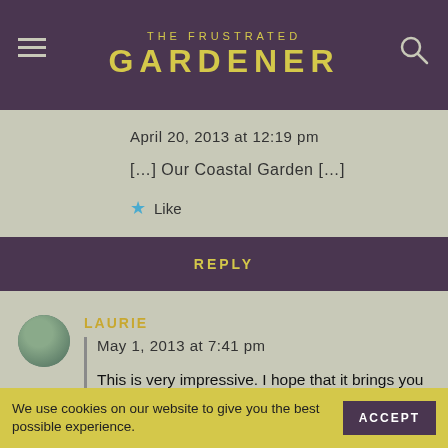THE FRUSTRATED GARDENER
April 20, 2013 at 12:19 pm
[…] Our Coastal Garden […]
Like
REPLY
LAURIE
May 1, 2013 at 7:41 pm
This is very impressive. I hope that it brings you much pleasure!
We use cookies on our website to give you the best possible experience. ACCEPT